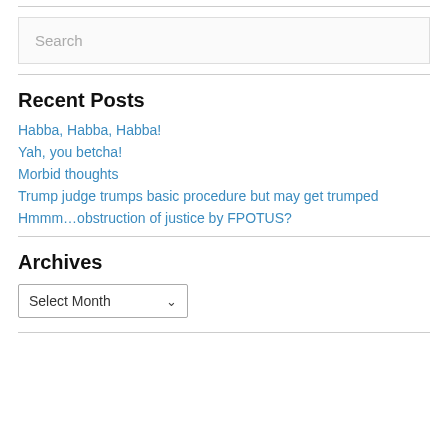Search
Recent Posts
Habba, Habba, Habba!
Yah, you betcha!
Morbid thoughts
Trump judge trumps basic procedure but may get trumped
Hmmm…obstruction of justice by FPOTUS?
Archives
Select Month